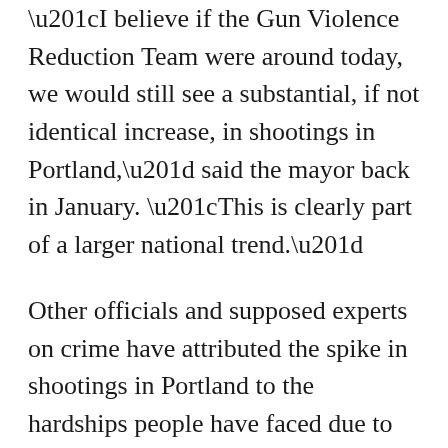“I believe if the Gun Violence Reduction Team were around today, we would still see a substantial, if not identical increase, in shootings in Portland,” said the mayor back in January. “This is clearly part of a larger national trend.”
Other officials and supposed experts on crime have attributed the spike in shootings in Portland to the hardships people have faced due to the Wuhan coronavirus (COVID-19) pandemic, such as unemployment, economic anxiety and stress on mental health.